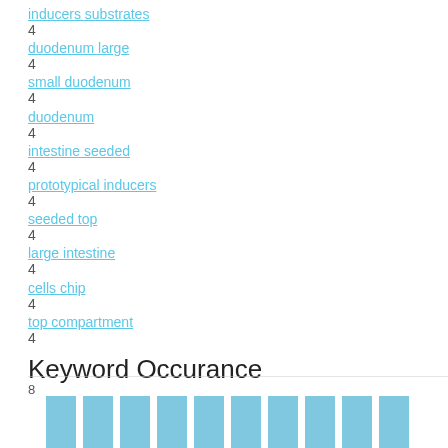inducers substrates
4
duodenum large
4
small duodenum
4
duodenum
4
intestine seeded
4
prototypical inducers
4
seeded top
4
large intestine
4
cells chip
4
top compartment
4
Keyword Occurance
[Figure (bar-chart): Bar chart showing keyword occurance with y-axis value of 8 visible; bars are light blue, partially cut off at bottom of page]